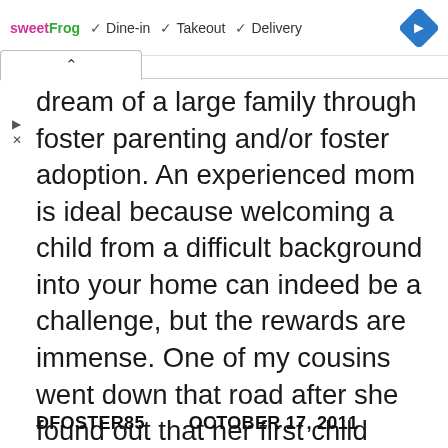[Figure (screenshot): SweetFrog advertisement banner with Dine-in, Takeout, Delivery options and navigation diamond icon]
...dream of a large family through foster parenting and/or foster adoption. An experienced mom is ideal because welcoming a child from a difficult background into your home can indeed be a challenge, but the rewards are immense. One of my cousins went down that road after she found out that her first child would have to be her last, for health reasons. She now has two children adopted from the foster care system.
DFOSTER85   OCTOBER 17, 2011